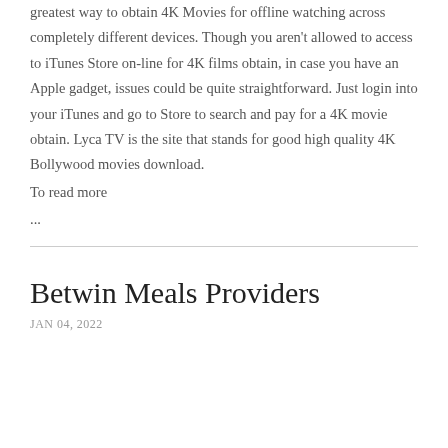greatest way to obtain 4K Movies for offline watching across completely different devices. Though you aren't allowed to access to iTunes Store on-line for 4K films obtain, in case you have an Apple gadget, issues could be quite straightforward. Just login into your iTunes and go to Store to search and pay for a 4K movie obtain. Lyca TV is the site that stands for good high quality 4K Bollywood movies download.
To read more
...
Betwin Meals Providers
JAN 04, 2022